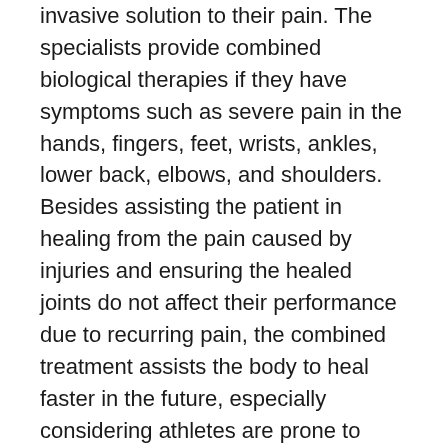invasive solution to their pain. The specialists provide combined biological therapies if they have symptoms such as severe pain in the hands, fingers, feet, wrists, ankles, lower back, elbows, and shoulders. Besides assisting the patient in healing from the pain caused by injuries and ensuring the healed joints do not affect their performance due to recurring pain, the combined treatment assists the body to heal faster in the future, especially considering athletes are prone to injuries.
QC Kinetix (Superior) also offers non-surgical alternatives to patients with knee pain, whether the pain is due to sports or other causes. Because patients have a varying level of pain due to knee injury, the specialist first evaluates the...